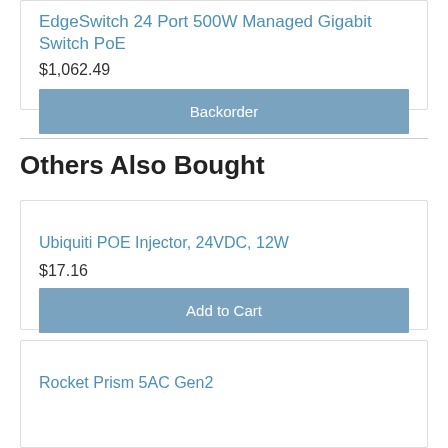EdgeSwitch 24 Port 500W Managed Gigabit Switch PoE
$1,062.49
Backorder
Others Also Bought
Ubiquiti POE Injector, 24VDC, 12W
$17.16
Add to Cart
Rocket Prism 5AC Gen2